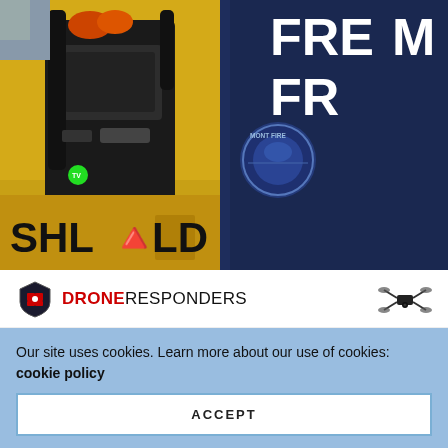[Figure (photo): Two people from behind: one wearing a yellow jacket with a black backpack/device unit with a green indicator light and text 'SHL...' on the jacket; the other wearing a dark navy uniform with a badge patch reading 'MONT FIRE' and 'FREMONT' text on the back.]
[Figure (logo): DroneResponders logo: shield icon on left, 'DRONE' in red bold and 'RESPONDERS' in black; drone quadcopter icon on right.]
TVU Networks, the market and technology leader
Our site uses cookies. Learn more about our use of cookies: cookie policy
ACCEPT